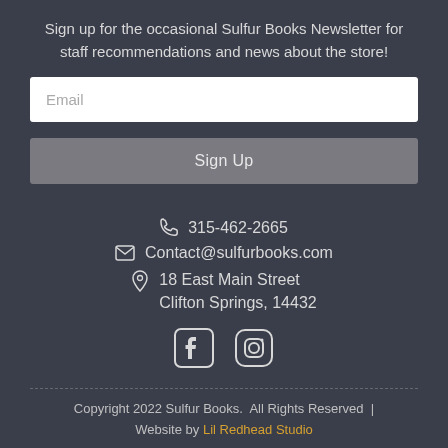Sign up for the occasional Sulfur Books Newsletter for staff recommendations and news about the store!
Email
Sign Up
315-462-2665
Contact@sulfurbooks.com
18 East Main Street
Clifton Springs, 14432
[Figure (logo): Facebook and Instagram social media icons]
Copyright 2022 Sulfur Books.  All Rights Reserved  |  Website by Lil Redhead Studio